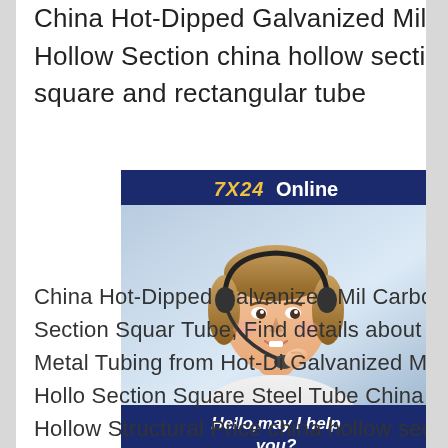China Hot-Dipped Galvanized Mild Carbon Ms Hollow Section china hollow section surface square and rectangular tube
[Figure (other): Customer service chat widget with '7X24 Online' header, photo of a woman wearing a headset, text 'Hello,may I help you?' and a 'Get Latest Price' button]
China Hot-Dipped Galvanized Mild Carbon Ms Hollow Section Square Tube, Find details about China Steel Tubing, Metal Tubing from Hot-Dipped Galvanized Mild Carbon Ms Hollow Section Square Steel Tube China Ms Tubo De Acero Hollow Structural Pipe Price china hollow section surface square and rectangular tubeHollow Section, Steel Pipe, Steel Tube manufacturer / supplier in China, offering Ms Tubo De Acero Hollow Structural Pipe Price Precision Steel Tube, Q235B Mild Steel Tube Pre Galvanized /Hot Dipped Galvanized